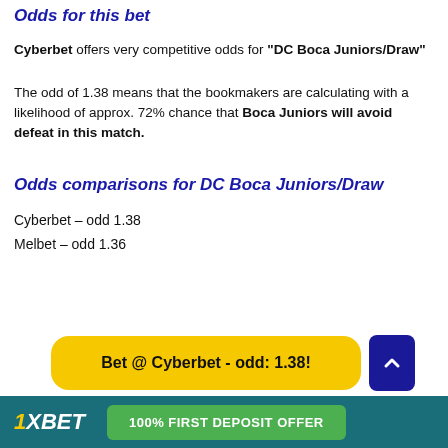Odds for this bet
Cyberbet offers very competitive odds for "DC Boca Juniors/Draw"
The odd of 1.38 means that the bookmakers are calculating with a likelihood of approx. 72% chance that Boca Juniors will avoid defeat in this match.
Odds comparisons for DC Boca Juniors/Draw
Cyberbet – odd 1.38
Melbet – odd 1.36
Bet @ Cyberbet - odd: 1.38!
[Figure (infographic): 1XBET 100% FIRST DEPOSIT OFFER banner at the bottom]